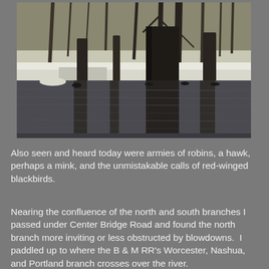[Figure (photo): Winter river scene with bare trees, snow-covered bank, and water with ducks or geese visible. Dark tree trunks reflected in calm river water.]
Also seen and heard today were armies of robins, a hawk, perhaps a mink, and the unmistakable calls of red-winged blackbirds.
Nearing the confluence of the north and south branches I passed under Center Bridge Road and found the north branch more inviting or less obstructed by blowdowns.  I paddled up to where the B & M RR's Worcester, Nashua, and Portland branch crosses over the river.